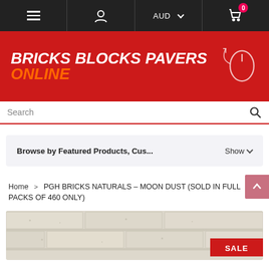Navigation bar with menu, user, AUD currency, and cart (0 items)
[Figure (logo): Bricks Blocks Pavers Online logo on red background with mouse cursor icon]
Search
Browse by Featured Products, Cus...  Show
Home > PGH BRICKS NATURALS – MOON DUST (SOLD IN FULL PACKS OF 460 ONLY)
[Figure (photo): Product photo of PGH Bricks Naturals Moon Dust brick wall with SALE badge]